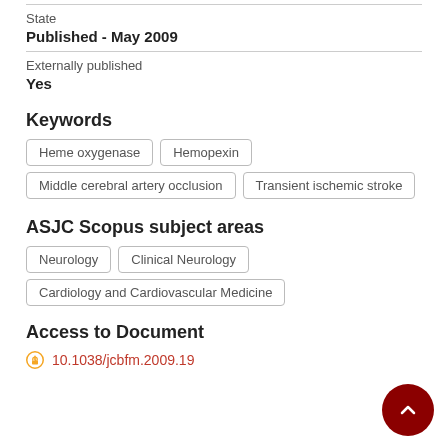State
Published - May 2009
Externally published
Yes
Keywords
Heme oxygenase
Hemopexin
Middle cerebral artery occlusion
Transient ischemic stroke
ASJC Scopus subject areas
Neurology
Clinical Neurology
Cardiology and Cardiovascular Medicine
Access to Document
10.1038/jcbfm.2009.19